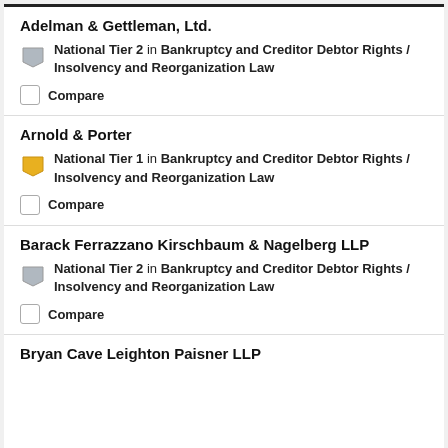Adelman & Gettleman, Ltd.
National Tier 2 in Bankruptcy and Creditor Debtor Rights / Insolvency and Reorganization Law
Compare
Arnold & Porter
National Tier 1 in Bankruptcy and Creditor Debtor Rights / Insolvency and Reorganization Law
Compare
Barack Ferrazzano Kirschbaum & Nagelberg LLP
National Tier 2 in Bankruptcy and Creditor Debtor Rights / Insolvency and Reorganization Law
Compare
Bryan Cave Leighton Paisner LLP